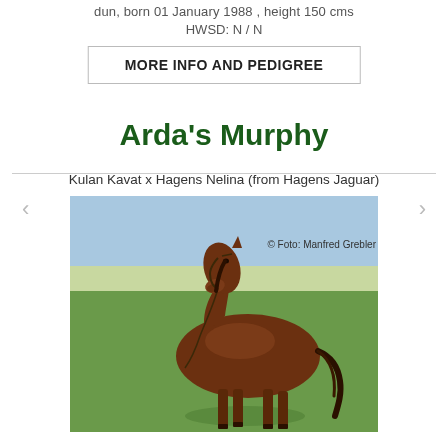dun, born 01 January 1988 , height 150 cms
HWSD: N / N
MORE INFO AND PEDIGREE
Arda's Murphy
Kulan Kavat x Hagens Nelina (from Hagens Jaguar)
[Figure (photo): A bay horse standing in profile on green grass with a field and blue sky in the background. The horse is wearing a halter with a lead rope.]
© Foto: Manfred Grebler